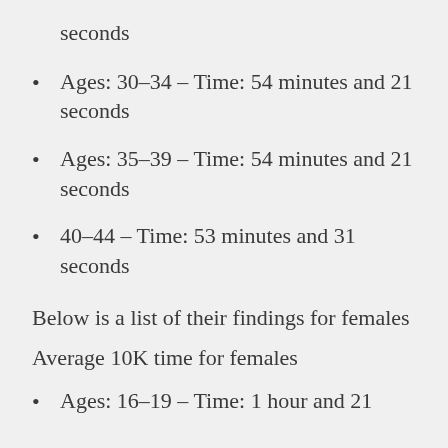seconds
Ages: 30–34 – Time: 54 minutes and 21 seconds
Ages: 35–39 – Time: 54 minutes and 21 seconds
40–44 – Time: 53 minutes and 31 seconds
Below is a list of their findings for females
Average 10K time for females
Ages: 16–19 – Time: 1 hour and 21